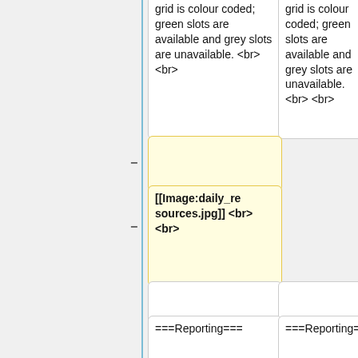grid is colour coded; green slots are available and grey slots are unavailable. <br> <br>
grid is colour coded; green slots are available and grey slots are unavailable. <br> <br>
[[Image:daily_resources.jpg]] <br> <br>
===Reporting===
===Reporting===
The report button at the top right of the page is used
The report button at the top right of the page is used